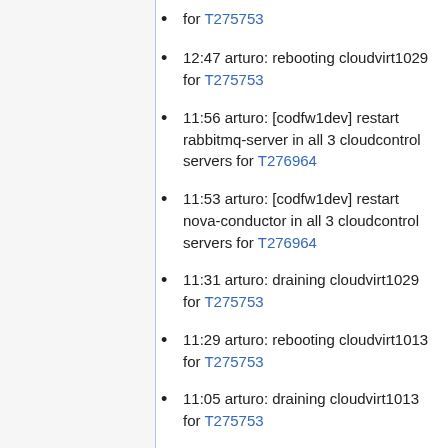for T275753
12:47 arturo: rebooting cloudvirt1029 for T275753
11:56 arturo: [codfw1dev] restart rabbitmq-server in all 3 cloudcontrol servers for T276964
11:53 arturo: [codfw1dev] restart nova-conductor in all 3 cloudcontrol servers for T276964
11:31 arturo: draining cloudvirt1029 for T275753
11:29 arturo: rebooting cloudvirt1013 for T275753
11:05 arturo: draining cloudvirt1013 for T275753
11:00 arturo: rebooting cloudvirt1028 for T275753
10:33 arturo: draining cloudvirt1028 for T275753
10:29 arturo: rebooting cloudvirt1023